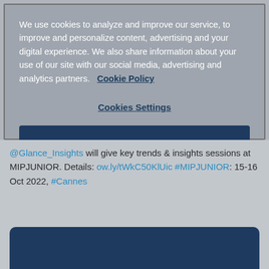We use cookies to analyze and improve our service, to improve and personalize content, advertising and your digital experience. We also share information about your use of our site with our social media, advertising and analytics partners.   Cookie Policy
Cookies Settings
Accept Only Necessary Cookies
Accept All Cookies
@Glance_Insights will give key trends & insights sessions at MIPJUNIOR. Details: ow.ly/tWkC50KlUic #MIPJUNIOR: 15-16 Oct 2022, #Cannes
[Figure (screenshot): Dark navy blue rounded rectangle image preview at bottom of tweet card]